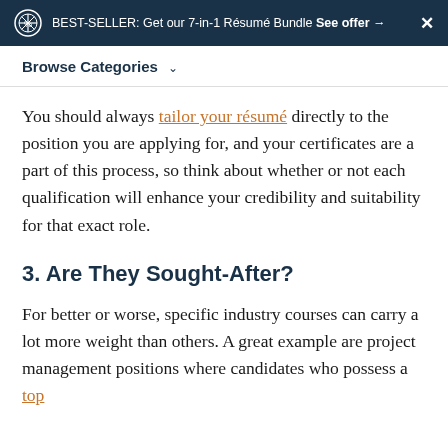BEST-SELLER: Get our 7-in-1 Résumé Bundle See offer →
Browse Categories
You should always tailor your résumé directly to the position you are applying for, and your certificates are a part of this process, so think about whether or not each qualification will enhance your credibility and suitability for that exact role.
3. Are They Sought-After?
For better or worse, specific industry courses can carry a lot more weight than others. A great example are project management positions where candidates who possess a top